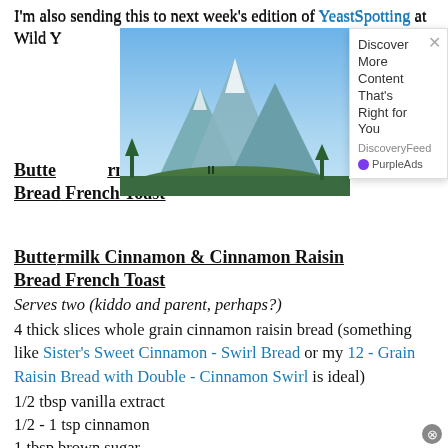I'm also sending this to next week's edition of YeastSpotting at Wild Y... [truncated by ad overlay]
[Figure (screenshot): Advertisement overlay with mountain landscape photo, titled 'Discover More Content That's Right for You', source 'DiscoveryFeed', branded 'PurpleAds']
Buttermilk Cinnamon Raisin Bread French Toast
Serves two (kiddo and parent, perhaps?)
4 thick slices whole grain cinnamon raisin bread (something like Sister's Sweet Cinnamon - Swirl Bread or my 12 - Grain Raisin Bread with Double - Cinnamon Swirl is ideal)
1/2 tbsp vanilla extract
1/2 - 1 tsp cinnamon
1 tbsp brown sugar
1/4 cup low-fat buttermilk (or 2 tbsp low-fat plain yogurt + 3 tbsp 1% milk)
4 eggs
2 tbsp salted butter, for cooking
1. On the lowest setting of your toaster, toast the slices of bread until just slightly "blonde" in colour and dry on the surface. Set aside.
2. In a shallow dish, whisk together the vanilla, cinnamon and brown sugar to evenly distribute the cinnamon.